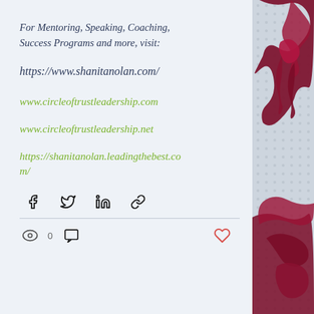For Mentoring, Speaking, Coaching, Success Programs and more, visit:
https://www.shanitanolan.com/
www.circleoftrustleadership.com
www.circleoftrustleadership.net
https://shanitanolan.leadingthebest.com/
[Figure (infographic): Social share icons: Facebook, Twitter, LinkedIn, Link]
[Figure (infographic): View count icon with 0, comment icon, heart/like icon]
[Figure (illustration): Decorative dark red paint splash on right side of page]